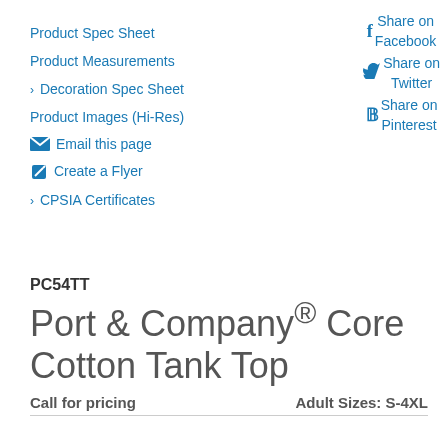Product Spec Sheet
Product Measurements
> Decoration Spec Sheet
Product Images (Hi-Res)
Email this page
Create a Flyer
> CPSIA Certificates
Share on Facebook
Share on Twitter
Share on Pinterest
PC54TT
Port & Company® Core Cotton Tank Top
Call for pricing                    Adult Sizes: S-4XL